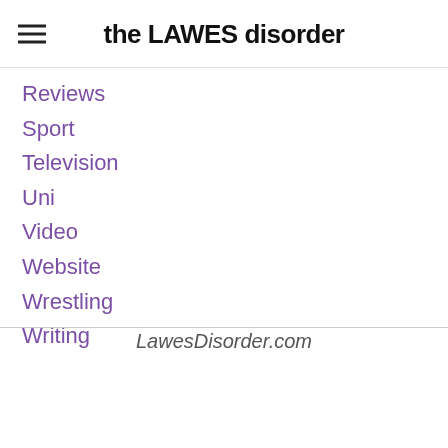the LAWES disorder
Reviews
Sport
Television
Uni
Video
Website
Wrestling
Writing
LawesDisorder.com